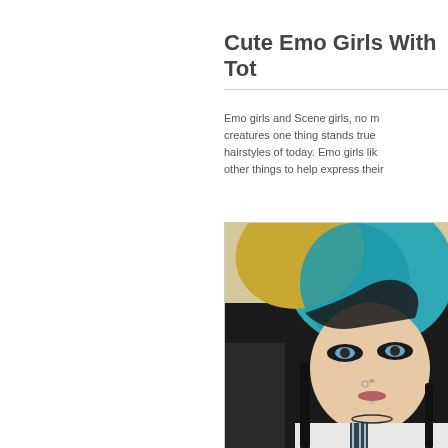Cute Emo Girls With Tot…
Emo girls and Scene girls, no matter what creatures one thing stands true hairstyles of today. Emo girls lik other things to help express their
[Figure (photo): Young emo/scene girl with multi-colored hair (blonde, teal/blue, and black), heavy eye makeup, nose ring, lip piercing, wearing a white shirt with a striped tie and necklaces. Photo is a close-up webcam-style selfie.]